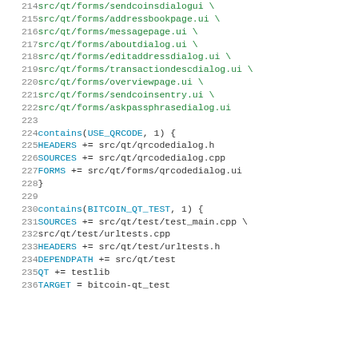Code listing lines 214-236, build configuration file (qmake .pro), showing FORMS file additions and conditional blocks for USE_QRCODE and BITCOIN_QT_TEST
[Figure (screenshot): Source code listing showing lines 214-236 of a Qt project file (.pro), with line numbers in gray on left, file paths in green, and keywords like HEADERS, SOURCES, FORMS, contains() in teal/blue. Contains two conditional blocks: contains(USE_QRCODE, 1) and contains(BITCOIN_QT_TEST, 1).]